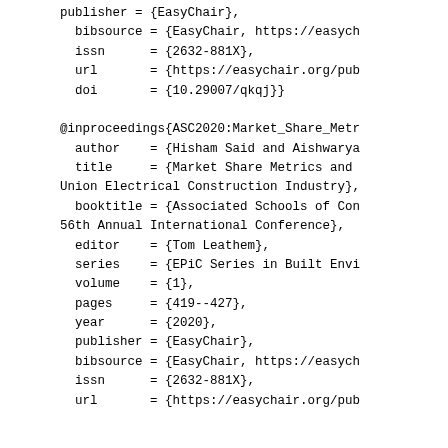publisher = {EasyChair},
  bibsource = {EasyChair, https://easych
  issn      = {2632-881X},
  url       = {https://easychair.org/pub
  doi       = {10.29007/qkqj}}

@inproceedings{ASC2020:Market_Share_Metr
  author    = {Hisham Said and Aishwarya
  title     = {Market Share Metrics and
Union Electrical Construction Industry},
  booktitle = {Associated Schools of Con
56th Annual International Conference},
  editor    = {Tom Leathem},
  series    = {EPiC Series in Built Envi
  volume    = {1},
  pages     = {419--427},
  year      = {2020},
  publisher = {EasyChair},
  bibsource = {EasyChair, https://easych
  issn      = {2632-881X},
  url       = {https://easychair.org/pub